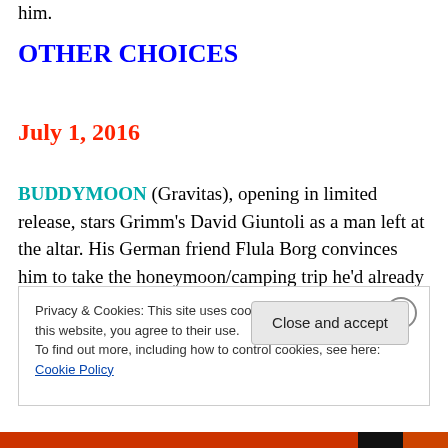him.
OTHER CHOICES
July 1, 2016
BUDDYMOON (Gravitas), opening in limited release, stars Grimm's David Giuntoli as a man left at the altar. His German friend Flula Borg convinces him to take the honeymoon/camping trip he'd already paid for and as both
Privacy & Cookies: This site uses cookies. By continuing to use this website, you agree to their use.
To find out more, including how to control cookies, see here: Cookie Policy
Close and accept